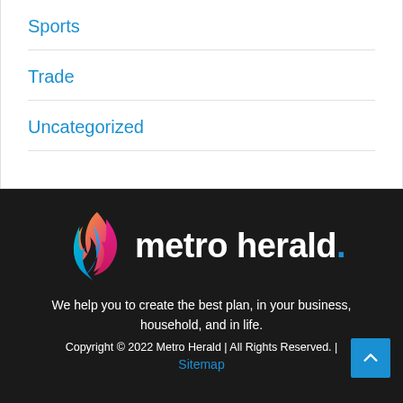Sports
Trade
Uncategorized
[Figure (logo): Metro Herald flame logo with colorful gradient (pink, blue, teal, orange) and white text 'metro herald.' with blue period]
We help you to create the best plan, in your business, household, and in life.
Copyright © 2022 Metro Herald | All Rights Reserved. | Sitemap